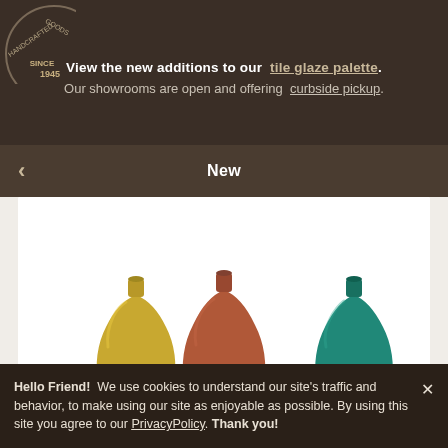View the new additions to our tile glaze palette. Our showrooms are open and offering curbside pickup.
New
[Figure (photo): Three ceramic vases on white background: yellow/mustard on left, terracotta/brown in center, teal/green on right. All are round bottle-shaped vases.]
Qty: — 1 + $42.00 - Add to Cart
Hello Friend! We use cookies to understand our site's traffic and behavior, to make using our site as enjoyable as possible. By using this site you agree to our PrivacyPolicy. Thank you!